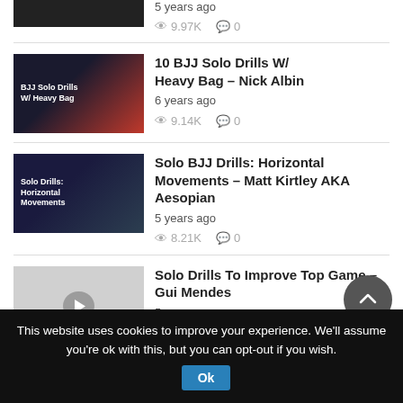5 years ago | 9.97K views | 0 comments
10 BJJ Solo Drills W/ Heavy Bag – Nick Albin | 6 years ago | 9.14K views | 0 comments
Solo BJJ Drills: Horizontal Movements – Matt Kirtley AKA Aesopian | 5 years ago | 8.21K views | 0 comments
Solo Drills To Improve Top Game – Gui Mendes | 5 years ago
This website uses cookies to improve your experience. We'll assume you're ok with this, but you can opt-out if you wish. Ok